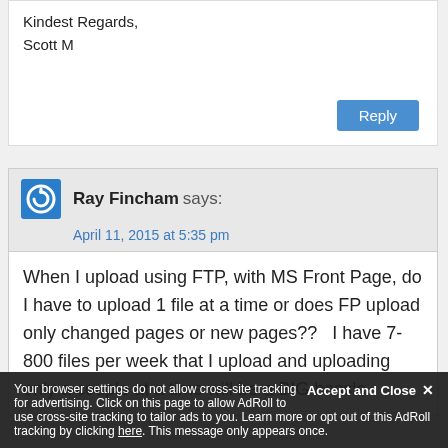Kindest Regards,
Scott M
Reply
Ray Fincham says:
April 11, 2015 at 5:35 pm
When I upload using FTP, with MS Front Page, do I have to upload 1 file at a time or does FP upload only changed pages or new pages??   I have 7-800 files per week that I upload and uploading only a couple at a time will be a BIG hassle.
Accept and Close
Your browser settings do not allow cross-site tracking for advertising. Click on this page to allow AdRoll to use cross-site tracking to tailor ads to you. Learn more or opt out of this AdRoll tracking by clicking here. This message only appears once.